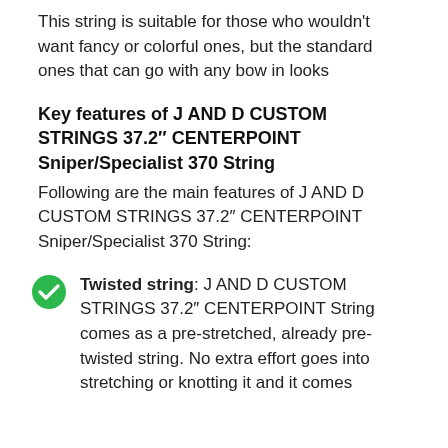This string is suitable for those who wouldn't want fancy or colorful ones, but the standard ones that can go with any bow in looks
Key features of J AND D CUSTOM STRINGS 37.2″ CENTERPOINT Sniper/Specialist 370 String
Following are the main features of J AND D CUSTOM STRINGS 37.2″ CENTERPOINT Sniper/Specialist 370 String:
Twisted string: J AND D CUSTOM STRINGS 37.2″ CENTERPOINT String comes as a pre-stretched, already pre-twisted string. No extra effort goes into stretching or knotting it and it comes